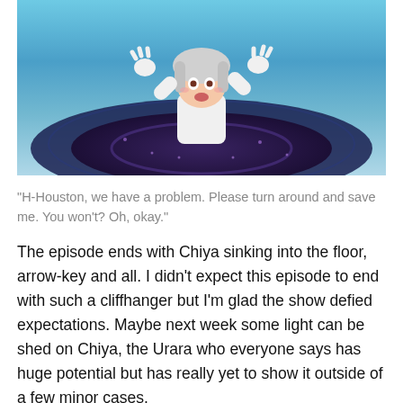[Figure (illustration): Anime screenshot showing a character (Chiya) sinking into a dark circular pool in the floor, with arms raised and mouth open, blue and purple tones]
“H-Houston, we have a problem. Please turn around and save me. You won’t? Oh, okay.”
The episode ends with Chiya sinking into the floor, arrow-key and all. I didn’t expect this episode to end with such a cliffhanger but I’m glad the show defied expectations. Maybe next week some light can be shed on Chiya, the Urara who everyone says has huge potential but has really yet to show it outside of a few minor cases.
Share this:
Twitter  Facebook  Tumblr